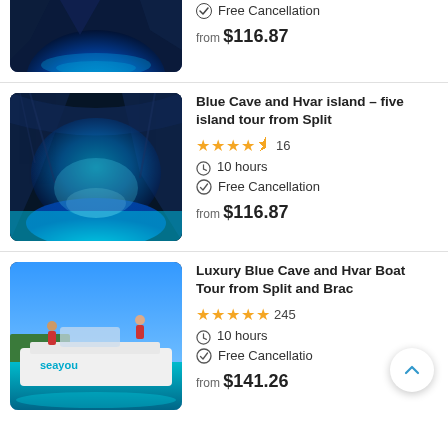[Figure (photo): Partial view of a blue cave underwater scene with rocks, top part of listing cut off]
Free Cancellation
from $116.87
[Figure (photo): Blue cave interior with glowing blue water and rocky walls]
Blue Cave and Hvar island – five island tour from Split
4.5 stars, 16 reviews
10 hours
Free Cancellation
from $116.87
[Figure (photo): Luxury boat named 'seayou' with people on top, turquoise water, blue sky]
Luxury Blue Cave and Hvar Boat Tour from Split and Brac
5 stars, 245 reviews
10 hours
Free Cancellation
from $141.26